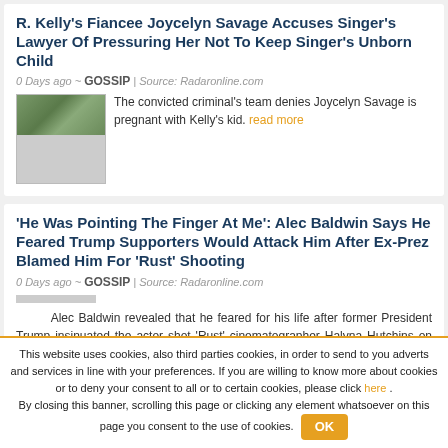R. Kelly's Fiancee Joycelyn Savage Accuses Singer's Lawyer Of Pressuring Her Not To Keep Singer's Unborn Child
0 Days ago ~ GOSSIP | Source: Radaronline.com
[Figure (photo): Thumbnail photo of a person outdoors with green background]
The convicted criminal's team denies Joycelyn Savage is pregnant with Kelly's kid. read more
'He Was Pointing The Finger At Me': Alec Baldwin Says He Feared Trump Supporters Would Attack Him After Ex-Prez Blamed Him For 'Rust' Shooting
0 Days ago ~ GOSSIP | Source: Radaronline.com
Alec Baldwin revealed that he feared for his life after former President Trump insinuated the actor shot 'Rust' cinematographer Halyna Hutchins on purpose. read more
This website uses cookies, also third parties cookies, in order to send to you adverts and services in line with your preferences. If you are willing to know more about cookies or to deny your consent to all or to certain cookies, please click here . By closing this banner, scrolling this page or clicking any element whatsoever on this page you consent to the use of cookies. OK